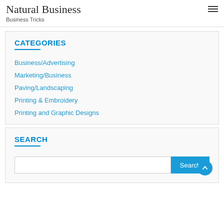Natural Business
Business Tricks
CATEGORIES
Business/Advertising
Marketing/Business
Paving/Landscaping
Printing & Embroidery
Printing and Graphic Designs
SEARCH